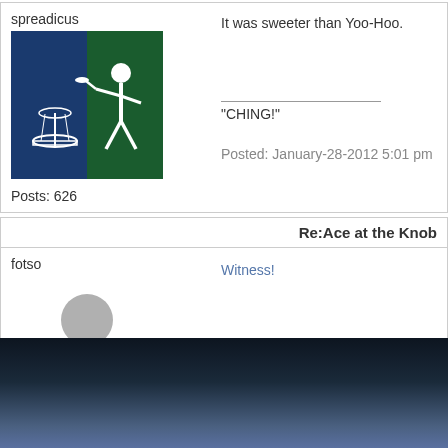spreadicus
[Figure (illustration): Disc golf avatar showing a player throwing a disc with a basket in the background, dark blue/green colors]
Posts: 626
It was sweeter than Yoo-Hoo.
"CHING!"
Posted: January-28-2012 5:01 pm
Re:Ace at the Knob
fotso
[Figure (illustration): Default grey silhouette avatar of a person]
Posts: 2
Witness!
Posted: April-03-2020 6:26 pm